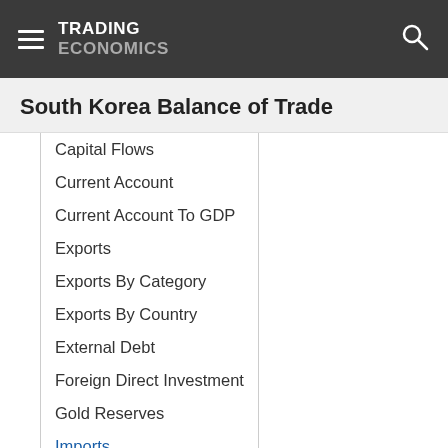TRADING ECONOMICS
South Korea Balance of Trade
Capital Flows
Current Account
Current Account To GDP
Exports
Exports By Category
Exports By Country
External Debt
Foreign Direct Investment
Gold Reserves
Imports
Imports By Category
Imports By Country
Terms Of Trade
Terrorism Index
Tourism Revenues
Tourist Arrivals
Weapons Sales